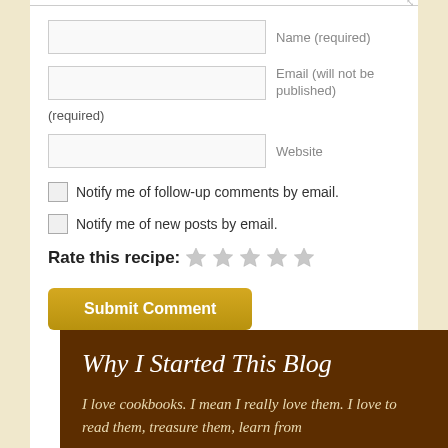Name (required)
Email (will not be published) (required)
Website
Notify me of follow-up comments by email.
Notify me of new posts by email.
Rate this recipe: ☆ ☆ ☆ ☆ ☆
Submit Comment
Why I Started This Blog
I love cookbooks. I mean I really love them. I love to read them, treasure them, learn from